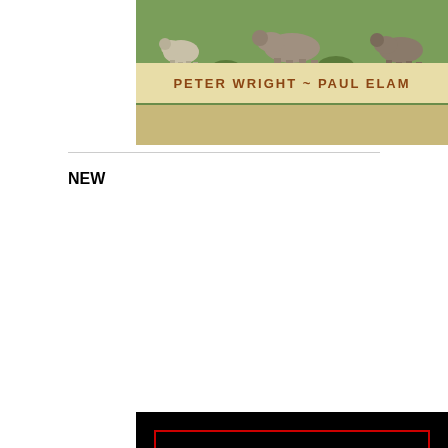[Figure (photo): Top book cover showing a nature/pastoral scene with animals grazing and flowers, with a banner showing author names PETER WRIGHT ~ PAUL ELAM on a cream/tan background]
[Figure (photo): Book cover for MEN WOMEN RELATIONSHIPS on a black background with a red border rectangle, featuring white bold text MEN WOMEN with a red diamond separator, red bold text RELATIONSHIPS below, and a classical statue of Perseus holding Medusa's head at the bottom]